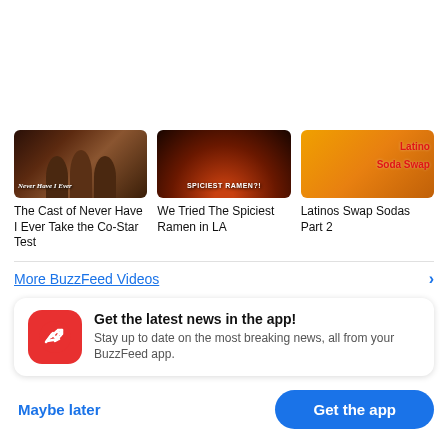[Figure (screenshot): BuzzFeed video thumbnail: The Cast of Never Have I Ever Take the Co-Star Test]
The Cast of Never Have I Ever Take the Co-Star Test
[Figure (screenshot): BuzzFeed video thumbnail: We Tried The Spiciest Ramen in LA]
We Tried The Spiciest Ramen in LA
[Figure (screenshot): BuzzFeed video thumbnail: Latinos Swap Sodas Part 2]
Latinos Swap Sodas Part 2
More BuzzFeed Videos
Get the latest news in the app! Stay up to date on the most breaking news, all from your BuzzFeed app.
Maybe later
Get the app